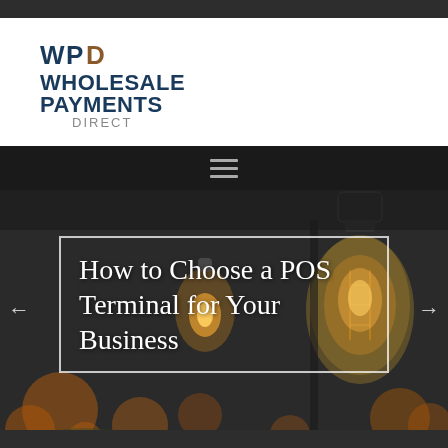[Figure (logo): Wholesale Payments Direct (WPD) logo with stylized WPD initials above bold text 'WHOLESALE PAYMENTS' and smaller text 'DIRECT']
[Figure (photo): Background photo of hanging vintage Edison light bulbs in dark ambiance with bokeh lighting effects]
How to Choose a POS Terminal for Your Business